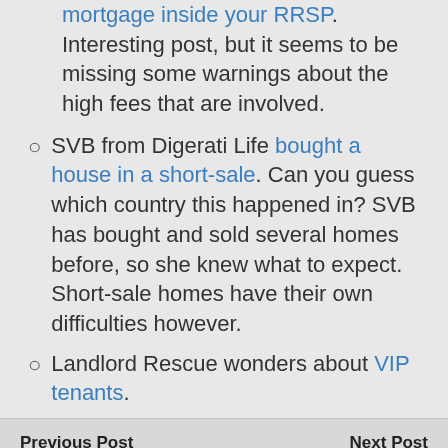mortgage inside your RRSP.  Interesting post, but it seems to be missing some warnings about the high fees that are involved.
SVB from Digerati Life bought a house in a short-sale.  Can you guess which country this happened in?  SVB has bought and sold several homes before, so she knew what to expect.  Short-sale homes have their own difficulties however.
Landlord Rescue wonders about VIP tenants.
Previous Post | Linkstuff - Sick Week Edition || Next Post | RESP Warfare – Reader Question
3 responses